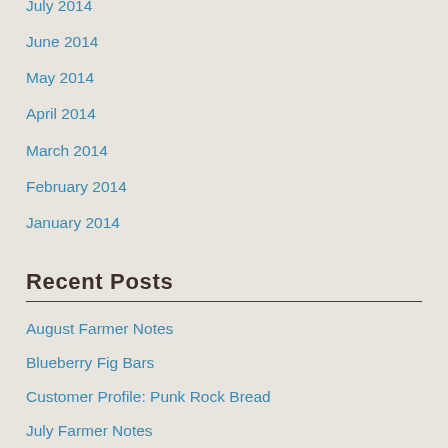July 2014
June 2014
May 2014
April 2014
March 2014
February 2014
January 2014
Recent Posts
August Farmer Notes
Blueberry Fig Bars
Customer Profile: Punk Rock Bread
July Farmer Notes
Marinated Cannellini Bean and Farro Salad